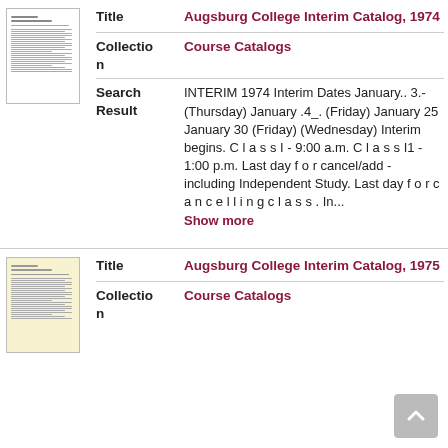[Figure (illustration): Thumbnail image of a white document page with horizontal text lines]
| Title | Augsburg College Interim Catalog, 1974 |
| Collection | Course Catalogs |
| Search Result | INTERIM 1974 Interim Dates January.. 3.- (Thursday) January .4_. (Friday) January 25 January 30 (Friday) (Wednesday) Interim begins. C l a s s I - 9:00 a.m. C l a s s I1 - 1:00 p.m. Last day f o r cancel/add - including Independent Study. Last day f o r c a n c e l l i n g c l a s s . In... Show more |
[Figure (illustration): Thumbnail image of a yellowed document page with horizontal text lines]
| Title | Augsburg College Interim Catalog, 1975 |
| Collection | Course Catalogs |